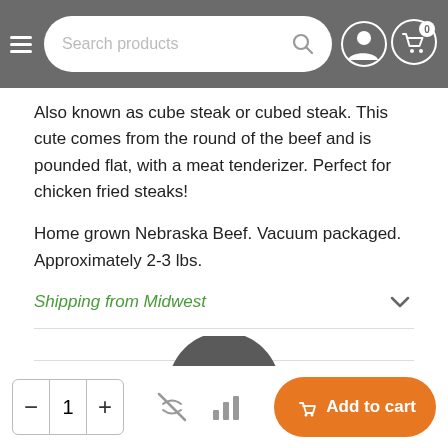Search products
Also known as cube steak or cubed steak. This cute comes from the round of the beef and is pounded flat, with a meat tenderizer. Perfect for chicken fried steaks!

Home grown Nebraska Beef. Vacuum packaged. Approximately 2-3 lbs.
Shipping from Midwest
[Figure (illustration): Shopping bag icon inside a dark circular background]
Add to cart